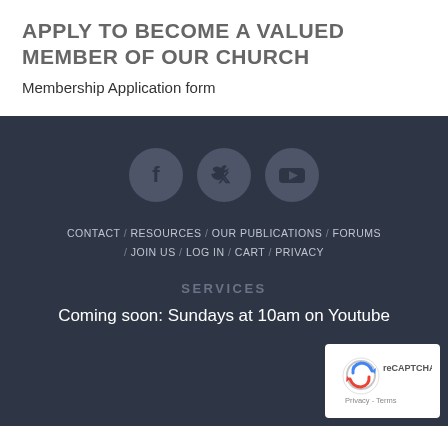APPLY TO BECOME A VALUED MEMBER OF OUR CHURCH
Membership Application form
[Figure (other): Social media icons: Facebook, Twitter, YouTube — circular grey buttons]
CONTACT / RESOURCES / OUR PUBLICATIONS / FORUMS / JOIN US / LOG IN / CART / PRIVACY
SERVICES
Coming soon: Sundays at 10am on Youtube
[Figure (other): reCAPTCHA badge with recycle arrow icon and Privacy - Terms text]